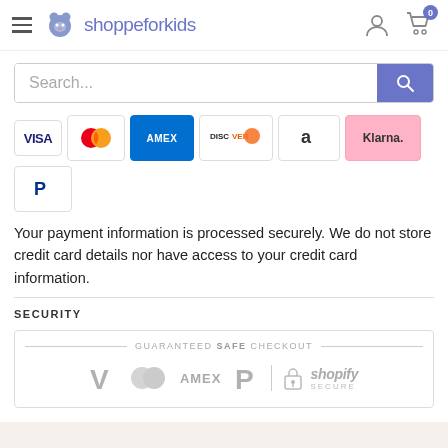shoppeforkids — navigation header with hamburger menu, logo, user icon, and cart (0)
[Figure (screenshot): Search bar with text 'Search...' and a purple search button with magnifying glass icon]
[Figure (infographic): Payment method icons: VISA, Mastercard, AMEX, Discover, Amazon, Klarna, PayPal]
Your payment information is processed securely. We do not store credit card details nor have access to your credit card information.
SECURITY
[Figure (infographic): Guaranteed Safe Checkout banner with Visa, Mastercard, AMEX, PayPal, and Shopify Secure logos]